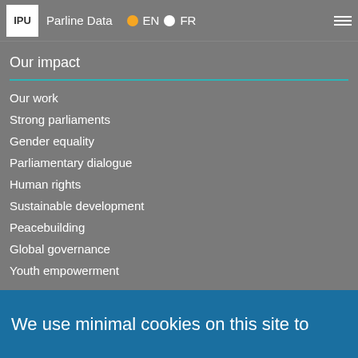IPU Parline Data EN FR
Our impact
Our work
Strong parliaments
Gender equality
Parliamentary dialogue
Human rights
Sustainable development
Peacebuilding
Global governance
Youth empowerment
Quick links
IPU structure and governance
News
Parliaments
We use minimal cookies on this site to